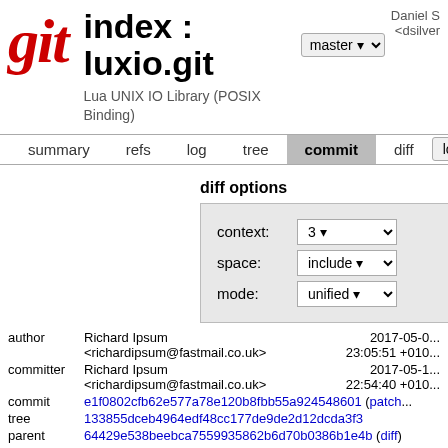index : luxio.git  [master dropdown]  Lua UNIX IO Library (POSIX Binding)  Daniel S <dsilver...>
summary  refs  log  tree  commit  diff  [log msg dropdown]
diff options
context: 3
space: include
mode: unified
|  |  |  |
| --- | --- | --- |
| author | Richard Ipsum <richardipsum@fastmail.co.uk> | 2017-05-0... 23:05:51 +010... |
| committer | Richard Ipsum <richardipsum@fastmail.co.uk> | 2017-05-1... 22:54:40 +010... |
| commit | e1f0802cfb62e577a78e120b8fbb55a924548601 (patch) |  |
| tree | 133855dceb4964edf48cc177de9de2d12dcda3f3 |  |
| parent | 64429e538beebca7559935862b6d70b0386b1e4b (diff) |  |
| download | luxio-e1f0802cfb62e577a78e120b8fbb55a924548601.tar.bz... |  |